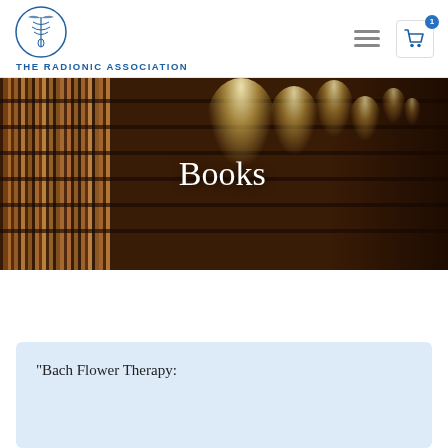THE RADIONIC ASSOCIATION
[Figure (photo): Library with bookshelves filled with books and hanging Edison bulb lights, dark warm tones]
Books
“Bach Flower Therapy: